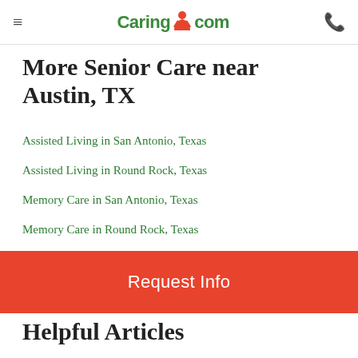Caring.com
More Senior Care near Austin, TX
Assisted Living in San Antonio, Texas
Assisted Living in Round Rock, Texas
Memory Care in San Antonio, Texas
Memory Care in Round Rock, Texas
Independent Living in San Antonio, Texas
Senior Living in San Antonio, Texas
Request Info
Helpful Articles